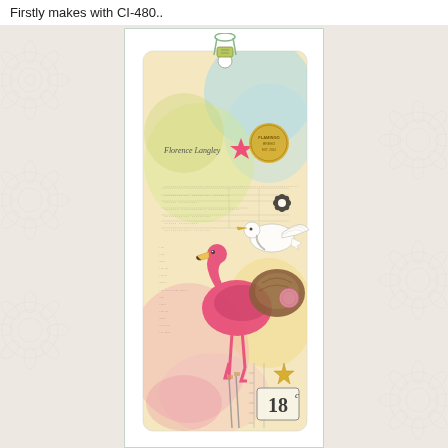Firstly makes with CI-480..
[Figure (photo): A decorative mixed-media art tag featuring a flamingo, a white bird/crane, a pink star, vintage ledger paper collage elements, watercolor washes in pink, blue, yellow and green, a gold circular stamp, a number tag reading 18, and text reading 'Florence Langley'. The tag has a string/ribbon at the top.]